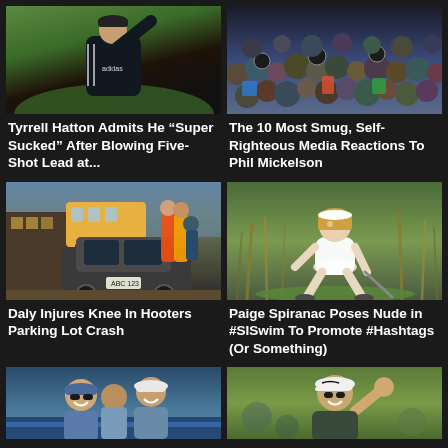[Figure (photo): Golfer Tyrrell Hatton looking upward, wearing black Adidas jacket, on a green golf course]
[Figure (photo): Dense crowd of spectators and photographers at a golf event]
Tyrrell Hatton Admits He “Super Sucked” After Blowing Five-Shot Lead at...
The 10 Most Smug, Self-Righteous Media Reactions To Phil Mickelson
[Figure (photo): Car crash scene in a Hooters parking lot with bystanders and cheerleaders in background]
[Figure (photo): Paige Spiranac crouching to read a putt on a golf course]
Daly Injures Knee In Hooters Parking Lot Crash
Paige Spiranac Poses Nude in #SISwim To Promote #Hashtags (Or Something)
[Figure (photo): Two golfers smiling, wearing white and grey caps]
[Figure (photo): Golfer wearing Nike white cap, waving]